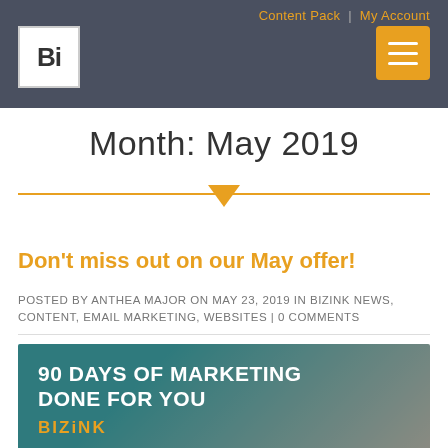Content Pack | My Account
[Figure (logo): Bizink logo: white box with bold 'Bi' text]
[Figure (other): Hamburger menu button, orange/yellow background with three white lines]
Month: May 2019
Don't miss out on our May offer!
POSTED BY ANTHEA MAJOR ON MAY 23, 2019 IN BIZINK NEWS, CONTENT, EMAIL MARKETING, WEBSITES | 0 COMMENTS
[Figure (photo): Promotional banner image: '90 DAYS OF MARKETING DONE FOR YOU' with 'BIZiNK' brand text, overlaid on a background showing hands and teal/blue tones]